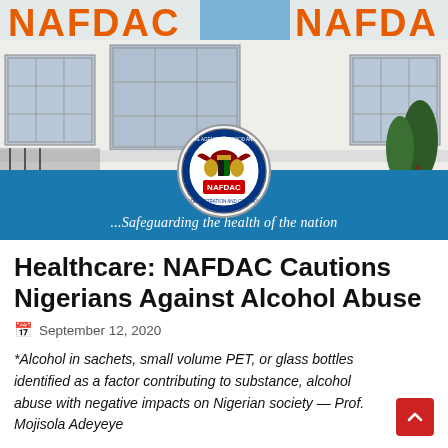[Figure (photo): NAFDAC building exterior with large orange NAFDAC signage on white building with glass windows, with NAFDAC circular logo seal overlaid, and blue bar with tagline '...Safeguarding the health of the nation']
Healthcare: NAFDAC Cautions Nigerians Against Alcohol Abuse
September 12, 2020
*Alcohol in sachets, small volume PET, or glass bottles identified as a factor contributing to substance, alcohol abuse with negative impacts on Nigerian society — Prof. Mojisola Adeyeye